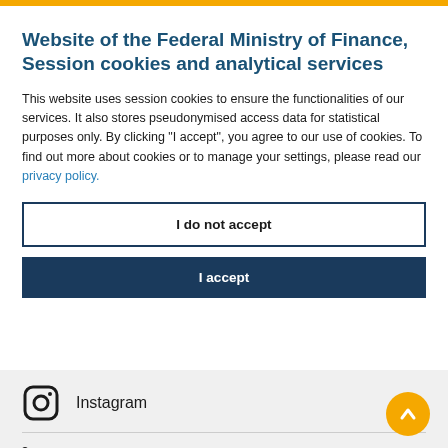Website of the Federal Ministry of Finance, Session cookies and analytical services
This website uses session cookies to ensure the functionalities of our services. It also stores pseudonymised access data for statistical purposes only. By clicking "I accept", you agree to our use of cookies. To find out more about cookies or to manage your settings, please read our privacy policy.
I do not accept
I accept
Instagram
LinkedIn